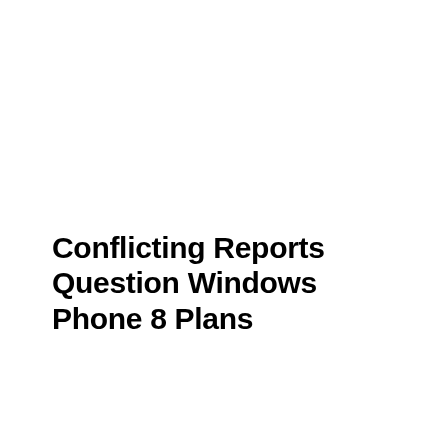Conflicting Reports Question Windows Phone 8 Plans